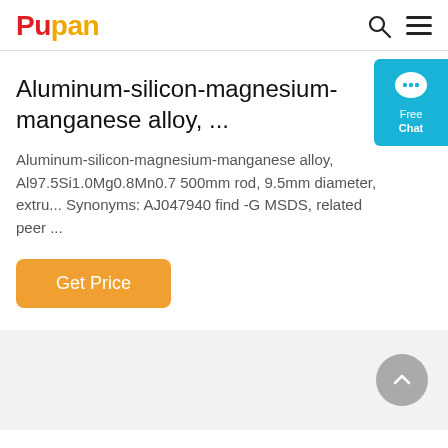Pupan
Aluminum-silicon-magnesium-manganese alloy, ...
Aluminum-silicon-magnesium-manganese alloy, Al97.5Si1.0Mg0.8Mn0.7 500mm rod, 9.5mm diameter, extru... Synonyms: AJ047940 find -G MSDS, related peer ...
[Figure (other): Orange 'Get Price' button]
[Figure (other): Light gray bottom panel with scroll-to-top circular button]